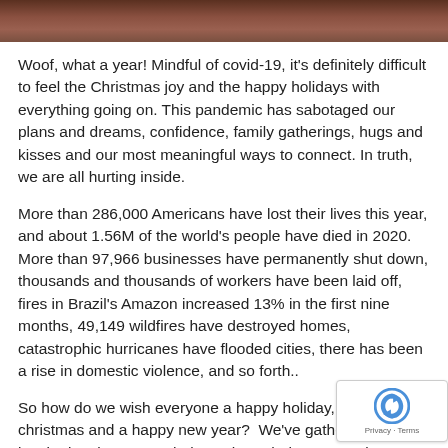[Figure (photo): Partial photo strip at top of page, brownish/reddish tones, appears to be an animal or landscape photo cropped to a narrow horizontal strip]
Woof, what a year! Mindful of covid-19, it's definitely difficult to feel the Christmas joy and the happy holidays with everything going on. This pandemic has sabotaged our plans and dreams, confidence, family gatherings, hugs and kisses and our most meaningful ways to connect. In truth, we are all hurting inside.
More than 286,000 Americans have lost their lives this year, and about 1.56M of the world's people have died in 2020. More than 97,966 businesses have permanently shut down, thousands and thousands of workers have been laid off, fires in Brazil's Amazon increased 13% in the first nine months, 49,149 wildfires have destroyed homes, catastrophic hurricanes have flooded cities, there has been a rise in domestic violence, and so forth..
So how do we wish everyone a happy holiday, a me christmas and a happy new year?  We've gathered a inspirational quotes to help us through these toug times. Because we believe in hope and a better